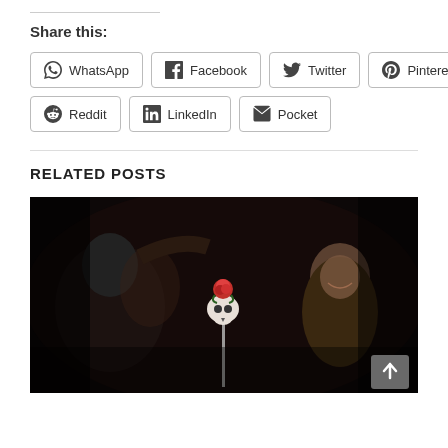Share this:
WhatsApp
Facebook
Twitter
Pinterest
Reddit
LinkedIn
Pocket
RELATED POSTS
[Figure (photo): Dark scene showing two people, one holding up a skull-shaped object with a rose on top, the other person smiling in a dimly lit environment.]